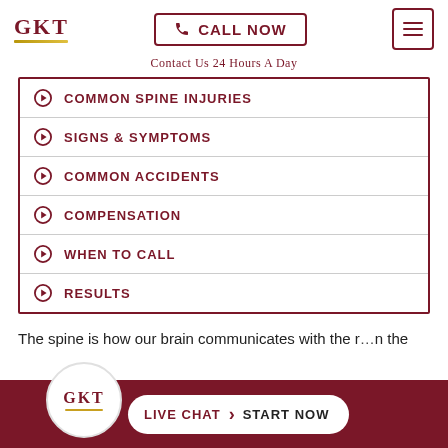GKT | CALL NOW | (menu)
Contact Us 24 Hours A Day
COMMON SPINE INJURIES
SIGNS & SYMPTOMS
COMMON ACCIDENTS
COMPENSATION
WHEN TO CALL
RESULTS
The spine is how our brain communicates with the r… n the
GKT LIVE CHAT START NOW